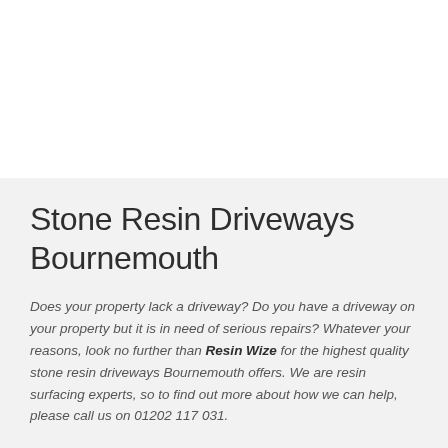Stone Resin Driveways Bournemouth
Does your property lack a driveway? Do you have a driveway on your property but it is in need of serious repairs? Whatever your reasons, look no further than Resin Wize for the highest quality stone resin driveways Bournemouth offers. We are resin surfacing experts, so to find out more about how we can help, please call us on 01202 117 031.